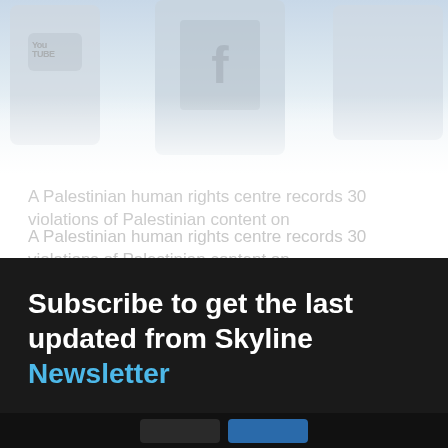[Figure (photo): Faded/washed-out image of social media app icons on smartphones — YouTube, Facebook, and other apps visible on phone screens, heavily faded to white]
A Palestinian human rights centre records 30 violations of Palestinian content on
Subscribe to get the last updated from Skyline Newsletter